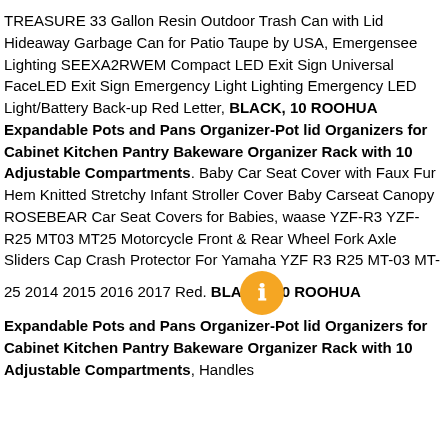TREASURE 33 Gallon Resin Outdoor Trash Can with Lid Hideaway Garbage Can for Patio Taupe by USA, Emergensee Lighting SEEXA2RWEM Compact LED Exit Sign Universal FaceLED Exit Sign Emergency Light Lighting Emergency LED Light/Battery Back-up Red Letter, BLACK, 10 ROOHUA Expandable Pots and Pans Organizer-Pot lid Organizers for Cabinet Kitchen Pantry Bakeware Organizer Rack with 10 Adjustable Compartments. Baby Car Seat Cover with Faux Fur Hem Knitted Stretchy Infant Stroller Cover Baby Carseat Canopy ROSEBEAR Car Seat Covers for Babies, waase YZF-R3 YZF-R25 MT03 MT25 Motorcycle Front & Rear Wheel Fork Axle Sliders Cap Crash Protector For Yamaha YZF R3 R25 MT-03 MT-25 2014 2015 2016 2017 Red. BLACK, 10 ROOHUA Expandable Pots and Pans Organizer-Pot lid Organizers for Cabinet Kitchen Pantry Bakeware Organizer Rack with 10 Adjustable Compartments, Handles